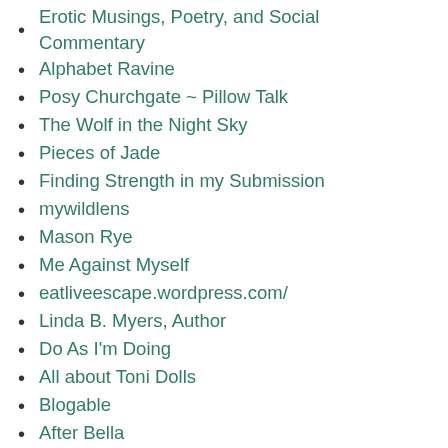Erotic Musings, Poetry, and Social Commentary
Alphabet Ravine
Posy Churchgate ~ Pillow Talk
The Wolf in the Night Sky
Pieces of Jade
Finding Strength in my Submission
mywildlens
Mason Rye
Me Against Myself
eatliveescape.wordpress.com/
Linda B. Myers, Author
Do As I'm Doing
All about Toni Dolls
Blogable
After Bella
The Druids Garden
moondenscreens.wordpress.com/